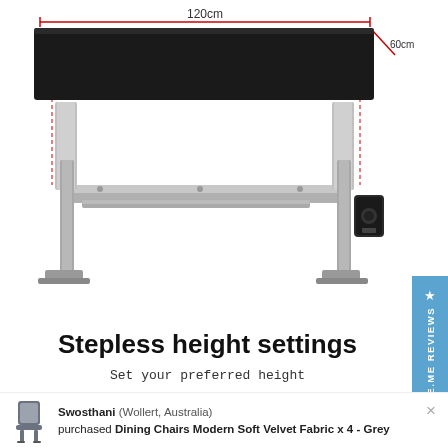[Figure (engineering-diagram): Standing desk with black tabletop showing 120cm width and 60cm depth dimensions, with silver adjustable frame and motor unit on right leg. Dashed red dimension lines indicate measurements.]
Stepless height settings
Set your preferred height
[Figure (photo): Bottom strip of the desk showing control panel and close-up of hand operating control buttons]
Swosthani (Wollert, Australia) purchased Dining Chairs Modern Soft Velvet Fabric x 4 - Grey